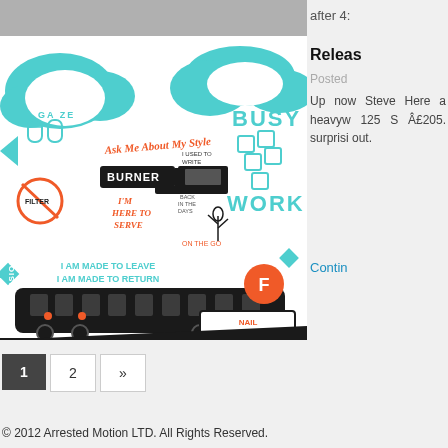[Figure (illustration): Colorful illustration/print artwork featuring a NYC subway train in black and white, with orange and teal graphic design elements including text phrases: 'ASK ME ABOUT MY STYLE', 'BURNER', 'I'M HERE TO SERVE', 'BUSY WORK', 'I AM MADE TO LEAVE I AM MADE TO RETURN', 'NAIL THAT RUMOR DON'T SPREAD DOEG!', 'VERSIONARY TACTICIAN', 'FILTER', 'ON THE GO', 'GA ZE', 'I USED TO WRITE BACK IN THE DAYS']
after 4:
Releas
Posted
Up now Steve Here a heavyw 125 S £205. surprisi out.
Contin
© 2012 Arrested Motion LTD. All Rights Reserved.